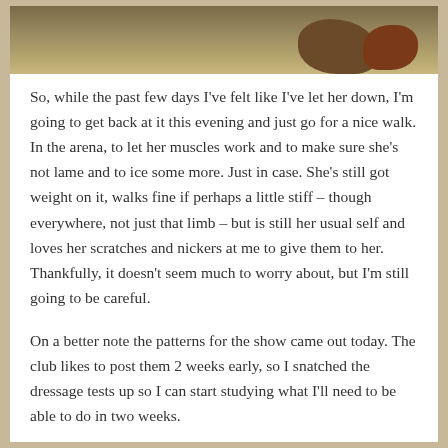[Figure (photo): Cropped photo of a horse or animal eating hay, warm brown tones, partially visible at top of page]
So, while the past few days I've felt like I've let her down, I'm going to get back at it this evening and just go for a nice walk. In the arena, to let her muscles work and to make sure she's not lame and to ice some more. Just in case. She's still got weight on it, walks fine if perhaps a little stiff – though everywhere, not just that limb – but is still her usual self and loves her scratches and nickers at me to give them to her. Thankfully, it doesn't seem much to worry about, but I'm still going to be careful.
On a better note the patterns for the show came out today. The club likes to post them 2 weeks early, so I snatched the dressage tests up so I can start studying what I'll need to be able to do in two weeks.